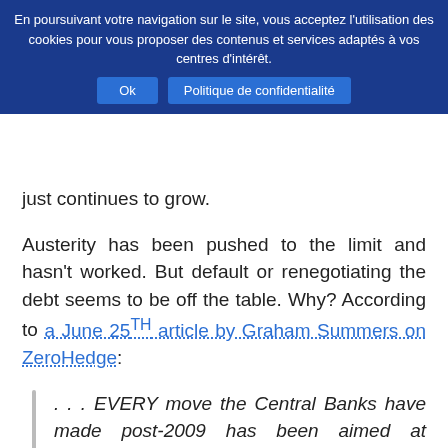En poursuivant votre navigation sur le site, vous acceptez l'utilisation des cookies pour vous proposer des contenus et services adaptés à vos centres d'intérêt. Ok Politique de confidentialité
just continues to grow.
Austerity has been pushed to the limit and hasn't worked. But default or renegotiating the debt seems to be off the table. Why? According to a June 25TH article by Graham Summers on ZeroHedge:
. . . EVERY move the Central Banks have made post-2009 has been aimed at avoiding debt restructuring or defaults in the bond markets. Why does Greece, a country that represents less than 2% of